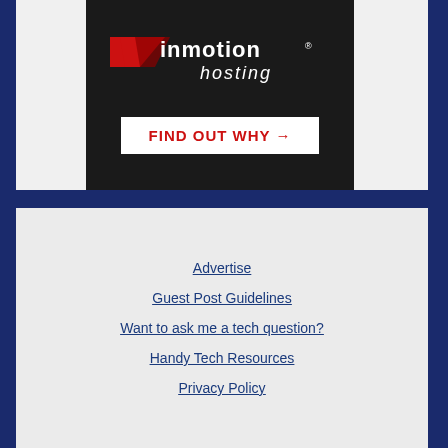[Figure (logo): InMotion Hosting advertisement banner with logo and 'FIND OUT WHY →' button on dark background]
Advertise
Guest Post Guidelines
Want to ask me a tech question?
Handy Tech Resources
Privacy Policy